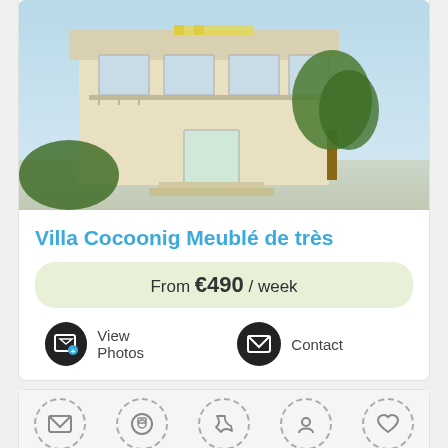[Figure (photo): Exterior photo of Villa Cocoonig showing a yellow house with balcony and olive tree]
Villa Cocoonig Meublé de très
From €490 / week
View Photos
Contact
[Figure (photo): Second property listing showing a white multi-storey building with icons for mail, camera, phone, location, and heart overlay]